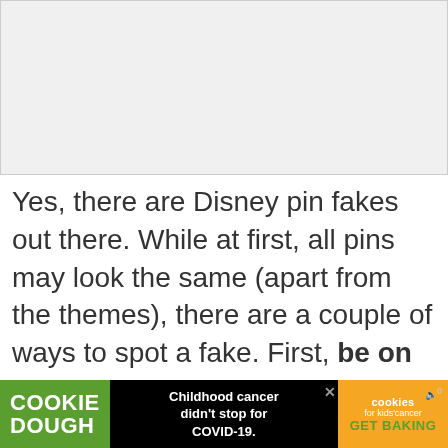[Figure (photo): Image placeholder area at top of page, light gray background]
Yes, there are Disney pin fakes out there. While at first, all pins may look the same (apart from the themes), there are a couple of ways to spot a fake. First, be on the lookout for pins that don't have the official copyrighted Disney mark. It's always somewhere on the pin, particularly on the back.  Secondly, you'll need good eyes for this one. Check the
[Figure (infographic): Cookie Dough advertisement banner at bottom: green Cookie Dough logo on left, white text 'Childhood cancer didn't stop for COVID-19.' in center, orange box on right with cookies for kids cancer logo and GET BAKING text]